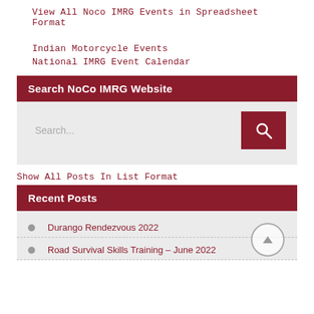View All Noco IMRG Events in Spreadsheet Format
Indian Motorcycle Events
National IMRG Event Calendar
Search NoCo IMRG Website
Search...
Show All Posts In List Format
Recent Posts
Durango Rendezvous 2022
Road Survival Skills Training – June 2022